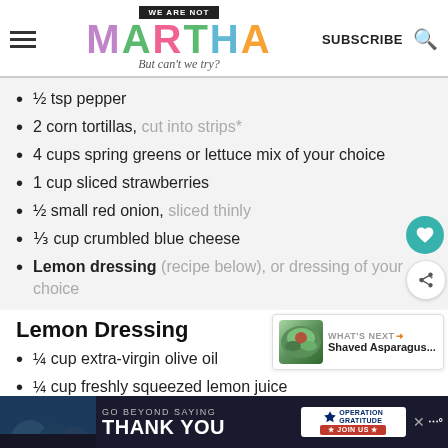[Figure (logo): We Are Not Martha logo with hamburger menu, colorful MARTHA lettering, tagline 'But can't we try?', SUBSCRIBE text and search icon]
½ tsp pepper
2 corn tortillas, cut into strips*
4 cups spring greens or lettuce mix of your choice
1 cup sliced strawberries
½ small red onion, sliced thinly
⅓ cup crumbled blue cheese
Lemon dressing (recipe below), or dressing of your choice
Lemon Dressing
¼ cup extra-virgin olive oil
¼ cup freshly squeezed lemon juice
[Figure (other): What's Next promo box with Shaved Asparagus thumbnail]
[Figure (other): Operation Gratitude advertisement banner: GO BEYOND SAYING THANK YOU]